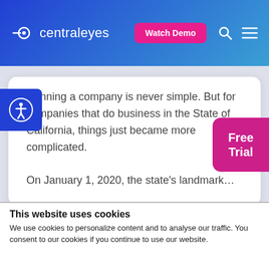centraleyes | Watch Demo
Running a company is never simple. But for companies that do business in the State of California, things just became more complicated. On January 1, 2020, the state's landmark…
Free Trial
This website uses cookies
We use cookies to personalize content and to analyse our traffic. You consent to our cookies if you continue to use our website.